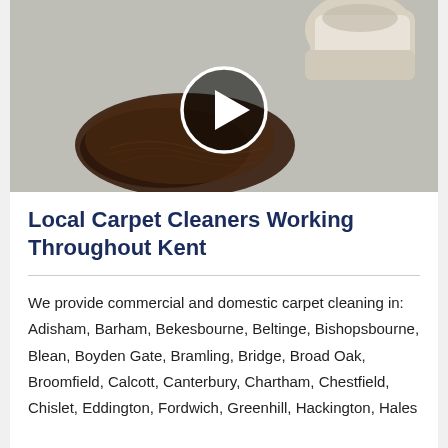[Figure (photo): A video thumbnail showing a spilled cup of coffee on a carpet, with a circular play button overlay in the center.]
Local Carpet Cleaners Working Throughout Kent
We provide commercial and domestic carpet cleaning in: Adisham, Barham, Bekesbourne, Beltinge, Bishopsbourne, Blean, Boyden Gate, Bramling, Bridge, Broad Oak, Broomfield, Calcott, Canterbury, Chartham, Chestfield, Chislet, Eddington, Fordwich, Greenhill, Hackington, Hales